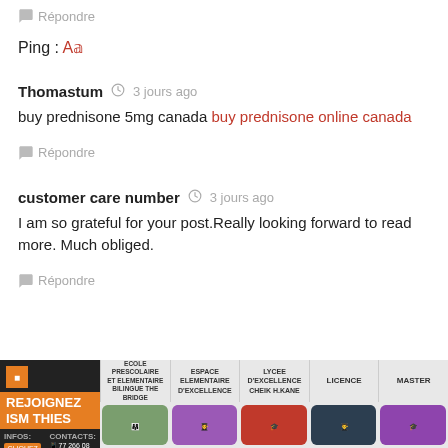Répondre
Ping : A
Thomastum  3 jours ago
buy prednisone 5mg canada buy prednisone online canada
Répondre
customer care number  3 jours ago
I am so grateful for your post.Really looking forward to read more. Much obliged.
Répondre
[Figure (infographic): Banner advertisement for ISM THIES school showing orange and black branding with sections: REJOIGNEZ ISM THIES, ECOLE PRESCOLAIRE ET ELEMENTAIRE BILINGUE THE BRIDGE, ESPACE ELEMENTAIRE D'EXCELLENCE, LYCEE D'EXCELLENCE CHEIK H.KANE, LICENCE, MASTER, and photos of students.]